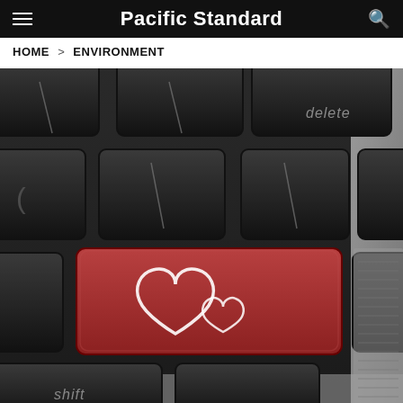Pacific Standard
HOME > ENVIRONMENT
[Figure (photo): Close-up photograph of a laptop keyboard with black keys, featuring a prominent red key in the center that has two white heart outlines on it. The keyboard is silver/aluminum. The 'delete' key is visible in the upper right and 'shift' text is visible at the bottom.]